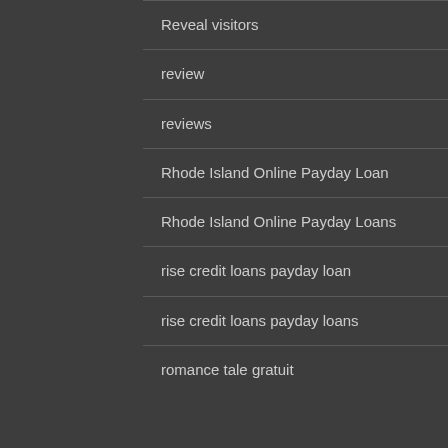Reveal visitors
review
reviews
Rhode Island Online Payday Loan
Rhode Island Online Payday Loans
rise credit loans payday loan
rise credit loans payday loans
romance tale gratuit